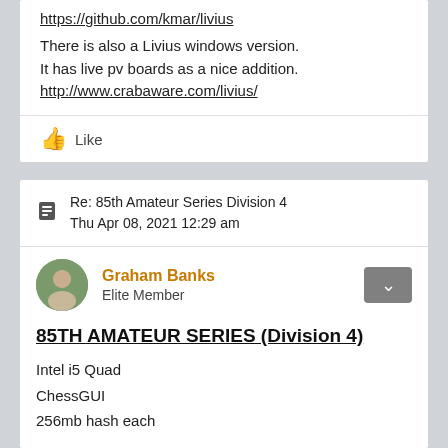https://github.com/kmar/livius
There is also a Livius windows version.
It has live pv boards as a nice addition.
http://www.crabaware.com/livius/
Like
Re: 85th Amateur Series Division 4
Thu Apr 08, 2021 12:29 am
Graham Banks
Elite Member
85TH AMATEUR SERIES (Division 4)
Intel i5 Quad
ChessGUI
256mb hash each